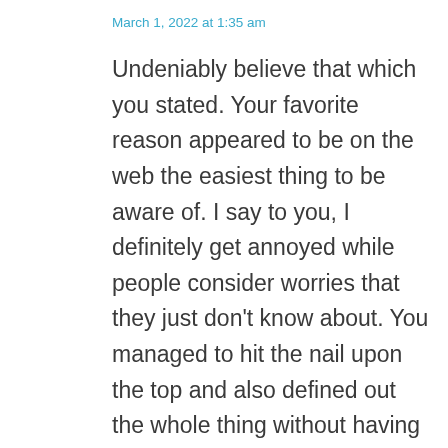March 1, 2022 at 1:35 am
Undeniably believe that which you stated. Your favorite reason appeared to be on the web the easiest thing to be aware of. I say to you, I definitely get annoyed while people consider worries that they just don’t know about. You managed to hit the nail upon the top and also defined out the whole thing without having side-effects , people could take a